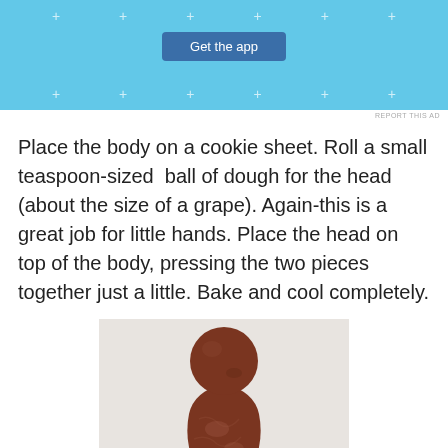[Figure (screenshot): Blue app advertisement banner with 'Get the app' button and decorative plus signs]
Place the body on a cookie sheet. Roll a small teaspoon-sized  ball of dough for the head (about the size of a grape). Again-this is a great job for little hands. Place the head on top of the body, pressing the two pieces together just a little. Bake and cool completely.
[Figure (photo): Photo of chocolate dough shaped into a gingerbread person figure with a round head on top of a body, placed on a light background]